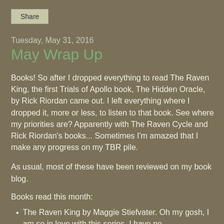Share
Tuesday, May 31, 2016
May Wrap Up
Books! So after I dropped everything to read The Raven King, the first Trials of Apollo book, The Hidden Oracle, by Rick Riordan came out. I left everything where I dropped it, more or less, to listen to that book. See where my priorities are? Apparently with The Raven Cycle and Rick Riordan's books... Sometimes I'm amazed that I make any progress on my TBR pile.
As usual, most of these have been reviewed on my book blog.
Books read this month:
The Raven King by Maggie Stiefvater. Oh my gosh, I am so in love with this series. I have no